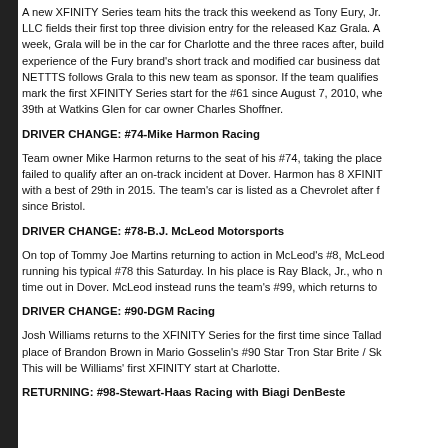A new XFINITY Series team hits the track this weekend as Tony Eury, Jr. LLC fields their first top three division entry for the released Kaz Grala. A week, Grala will be in the car for Charlotte and the three races after, buil experience of the Fury brand's short track and modified car business dat NETTTS follows Grala to this new team as sponsor. If the team qualifies mark the first XFINITY Series start for the #61 since August 7, 2010, whe 39th at Watkins Glen for car owner Charles Shoffner.
DRIVER CHANGE: #74-Mike Harmon Racing
Team owner Mike Harmon returns to the seat of his #74, taking the place failed to qualify after an on-track incident at Dover. Harmon has 8 XFINIT with a best of 29th in 2015. The team's car is listed as a Chevrolet after f since Bristol.
DRIVER CHANGE: #78-B.J. McLeod Motorsports
On top of Tommy Joe Martins returning to action in McLeod's #8, McLeod running his typical #78 this Saturday. In his place is Ray Black, Jr., who n time out in Dover. McLeod instead runs the team's #99, which returns to
DRIVER CHANGE: #90-DGM Racing
Josh Williams returns to the XFINITY Series for the first time since Tallad place of Brandon Brown in Mario Gosselin's #90 Star Tron Star Brite / Sk This will be Williams' first XFINITY start at Charlotte.
RETURNING: #98-Stewart-Haas Racing with Biagi DenBeste